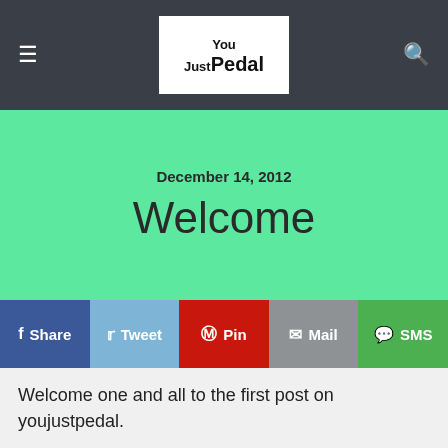YouJustPedal
December 14, 2012
Welcome
f Share  Tweet  Pin  Mail  SMS
Welcome one and all to the first post on youjustpedal.
This is the blog chronicling Chris and Mel's attempts to cycle all the way from the world's most southerly city, Ushuaia, to the Prudhoe Bay, Alaska, a distance of roughly, or so we've read, 22,000kms.
We've sold every item we own, invested in two touring